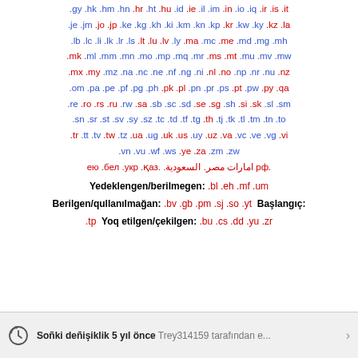.gy .hk .hm .hn .hr .ht .hu .id .ie .il .im .in .io .iq .ir .is .it .je .jm .jo .jp .ke .kg .kh .ki .km .kn .kp .kr .kw .ky .kz .la .lb .lc .li .lk .lr .ls .lt .lu .lv .ly .ma .mc .me .md .mg .mh .mk .ml .mm .mn .mo .mp .mq .mr .ms .mt .mu .mv .mw .mx .my .mz .na .nc .ne .nf .ng .ni .nl .no .np .nr .nu .nz .om .pa .pe .pf .pg .ph .pk .pl .pn .pr .ps .pt .pw .py .qa .re .ro .rs .ru .rw .sa .sb .sc .sd .se .sg .sh .si .sk .sl .sm .sn .sr .st .sv .sy .sz .tc .td .tf .tg .th .tj .tk .tl .tm .tn .to .tr .tt .tv .tw .tz .ua .ug .uk .us .uy .uz .va .vc .ve .vg .vi .vn .vu .wf .ws .ye .za .zm .zw
.рф امارات مصر. السعودية. .ею .бел .укр .қаз
Yedeklengen/berilmegen: .bl .eh .mf .um
Berilgen/qullanılmağan: .bv .gb .pm .sj .so .yt Başlangıç: .tp Yoq etilgen/çekilgen: .bu .cs .dd .yu .zr
Soñki deñişiklik 5 yıl önce Trey314159 tarafından e...